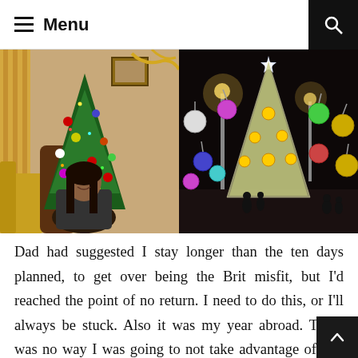≡ Menu
[Figure (photo): Two Christmas photos side by side: left photo shows a young woman with long dark hair sitting in front of a decorated Christmas tree indoors; right photo shows a large illuminated outdoor Christmas tree at night with colorful ornament decorations hanging around it in a public square.]
Dad had suggested I stay longer than the ten days planned, to get over being the Brit misfit, but I'd reached the point of no return. I need to do this, or I'll always be stuck. Also it was my year abroad. There was no way I was going to not take advantage of that for New Year's Eve. So ten days later and six